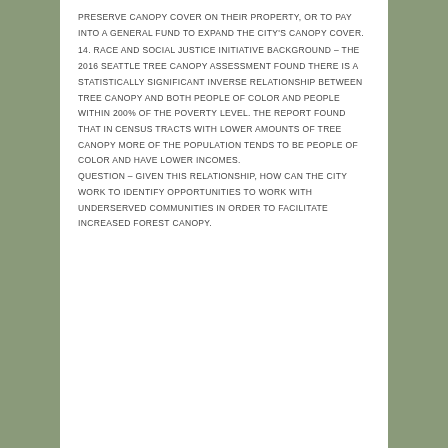PRESERVE CANOPY COVER ON THEIR PROPERTY, OR TO PAY INTO A GENERAL FUND TO EXPAND THE CITY'S CANOPY COVER.
14. RACE AND SOCIAL JUSTICE INITIATIVE BACKGROUND – THE 2016 SEATTLE TREE CANOPY ASSESSMENT FOUND THERE IS A STATISTICALLY SIGNIFICANT INVERSE RELATIONSHIP BETWEEN TREE CANOPY AND BOTH PEOPLE OF COLOR AND PEOPLE WITHIN 200% OF THE POVERTY LEVEL. THE REPORT FOUND THAT IN CENSUS TRACTS WITH LOWER AMOUNTS OF TREE CANOPY MORE OF THE POPULATION TENDS TO BE PEOPLE OF COLOR AND HAVE LOWER INCOMES.
QUESTION – GIVEN THIS RELATIONSHIP, HOW CAN THE CITY WORK TO IDENTIFY OPPORTUNITIES TO WORK WITH UNDERSERVED COMMUNITIES IN ORDER TO FACILITATE INCREASED FOREST CANOPY.